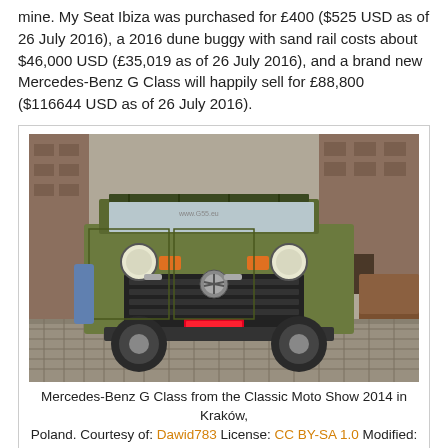mine. My Seat Ibiza was purchased for £400 ($525 USD as of 26 July 2016), a 2016 dune buggy with sand rail costs about $46,000 USD (£35,019 as of 26 July 2016), and a brand new Mercedes-Benz G Class will happily sell for £88,800 ($116644 USD as of 26 July 2016).
[Figure (photo): A green Mercedes-Benz G Class (early model) parked on cobblestones in what appears to be an alley or courtyard, with brick buildings visible. The vehicle faces the camera. Photo from the Classic Moto Show 2014 in Kraków, Poland.]
Mercedes-Benz G Class from the Classic Moto Show 2014 in Kraków, Poland. Courtesy of: Dawid783 License: CC BY-SA 1.0 Modified: No
The picture above is an example of a Mercedes-Benz G clas s, this is an early model but more recent models will be equip